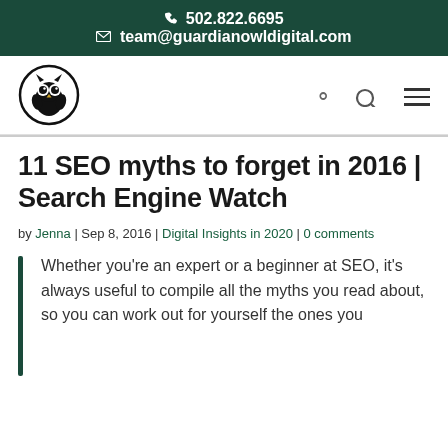502.822.6695
team@guardianowldigital.com
[Figure (logo): Guardian Owl Digital owl logo — circular black and white owl illustration]
11 SEO myths to forget in 2016 | Search Engine Watch
by Jenna | Sep 8, 2016 | Digital Insights in 2020 | 0 comments
Whether you're an expert or a beginner at SEO, it's always useful to compile all the myths you read about, so you can work out for yourself the ones you